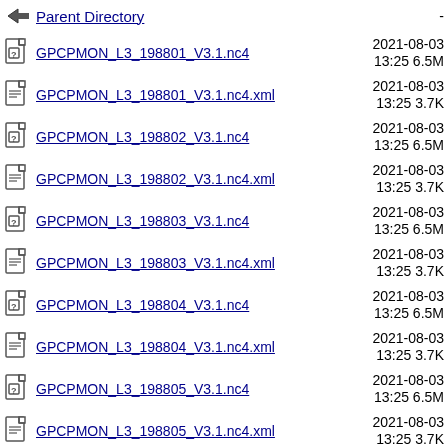Parent Directory  -
GPCPMON_L3_198801_V3.1.nc4  2021-08-03 13:25  6.5M
GPCPMON_L3_198801_V3.1.nc4.xml  2021-08-03 13:25  3.7K
GPCPMON_L3_198802_V3.1.nc4  2021-08-03 13:25  6.5M
GPCPMON_L3_198802_V3.1.nc4.xml  2021-08-03 13:25  3.7K
GPCPMON_L3_198803_V3.1.nc4  2021-08-03 13:25  6.5M
GPCPMON_L3_198803_V3.1.nc4.xml  2021-08-03 13:25  3.7K
GPCPMON_L3_198804_V3.1.nc4  2021-08-03 13:25  6.5M
GPCPMON_L3_198804_V3.1.nc4.xml  2021-08-03 13:25  3.7K
GPCPMON_L3_198805_V3.1.nc4  2021-08-03 13:25  6.5M
GPCPMON_L3_198805_V3.1.nc4.xml  2021-08-03 13:25  3.7K
GPCPMON_L3_198806_V3.1.nc4  2021-08-03 13:25  6.5M